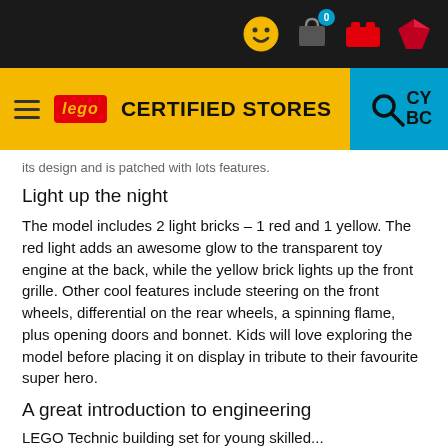LEGO CERTIFIED STORES
its design and is packed with lots features.
Light up the night
The model includes 2 light bricks – 1 red and 1 yellow. The red light adds an awesome glow to the transparent toy engine at the back, while the yellow brick lights up the front grille. Other cool features include steering on the front wheels, differential on the rear wheels, a spinning flame, plus opening doors and bonnet. Kids will love exploring the model before placing it on display in tribute to their favourite super hero.
A great introduction to engineering
LEGO Technic building set for young skilled...